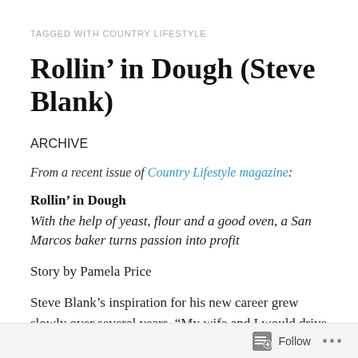TAGGED WITH COUNTRY LIFESTYLE
Rollin’ in Dough (Steve Blank)
ARCHIVE
From a recent issue of Country Lifestyle magazine:
Rollin’ in Dough
With the help of yeast, flour and a good oven, a San Marcos baker turns passion into profit
Story by Pamela Price
Steve Blank’s inspiration for his new career grew slowly over several years. “My wife and I would drive up to Austin